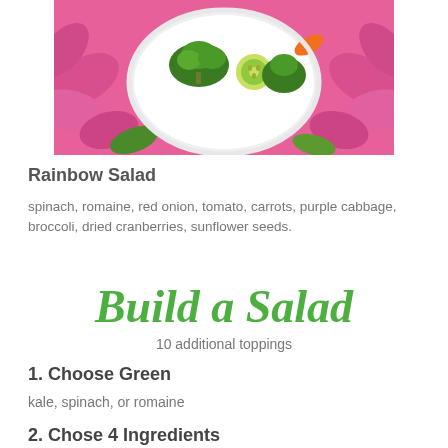[Figure (photo): A white bowl filled with broccoli, cucumber slices, and other vegetables, surrounded by bright pink flowers, viewed from above.]
Rainbow Salad
spinach, romaine, red onion, tomato, carrots, purple cabbage, broccoli, dried cranberries, sunflower seeds.
Build a Salad
10 additional toppings
1. Choose Green
kale, spinach, or romaine
2. Chose 4 Ingredients